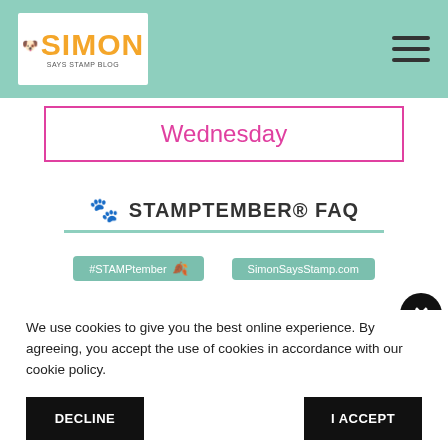Simon Says Stamp Blog
Wednesday
🐾 STAMPTEMBER® FAQ
[Figure (other): Two badges: #STAMPtember and SimonSaysStamp.com on teal/green background]
We use cookies to give you the best online experience. By agreeing, you accept the use of cookies in accordance with our cookie policy.
DECLINE
I ACCEPT
Privacy Policy  Cookie Policy